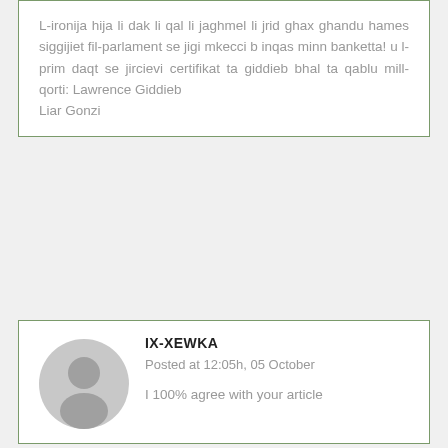L-ironija hija li dak li qal li jaghmel li jrid ghax ghandu hames siggijiet fil-parlament se jigi mkecci b inqas minn banketta! u l-prim daqt se jircievi certifikat ta giddieb bhal ta qablu mill-qorti: Lawrence Giddieb
Liar Gonzi
IX-XEWKA
Posted at 12:05h, 05 October
I 100% agree with your article